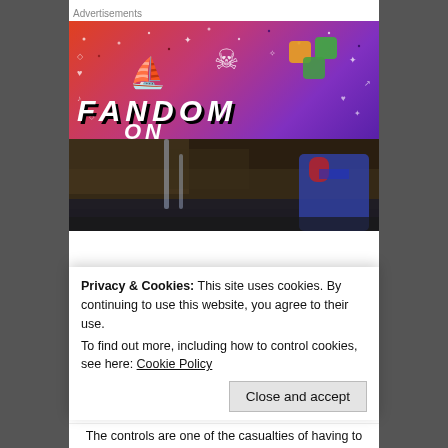Advertisements
[Figure (illustration): Fandom banner with gradient background (red to purple), sailboat emoji, skull emoji, dice emojis, decorative doodles, and bold italic text reading FANDOM ON]
[Figure (photo): Dark screenshot of a video game showing a character (appears to be Spider-Man in a blue/red suit) with some glass tubes or laboratory equipment]
Privacy & Cookies: This site uses cookies. By continuing to use this website, you agree to their use.
To find out more, including how to control cookies, see here: Cookie Policy
Close and accept
The controls are one of the casualties of having to